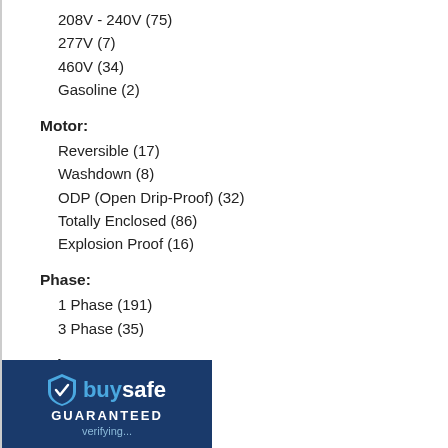208V - 240V (75)
277V (7)
460V (34)
Gasoline (2)
Motor:
Reversible (17)
Washdown (8)
ODP (Open Drip-Proof) (32)
Totally Enclosed (86)
Explosion Proof (16)
Phase:
1 Phase (191)
3 Phase (35)
Drive:
Belt Driven (19)
Direct Driven (115)
Mount:
Wall (65)
Manufacturer:
[Figure (logo): BuySafe Guaranteed badge with shield icon, blue background, text: buy safe GUARANTEED verifying...]